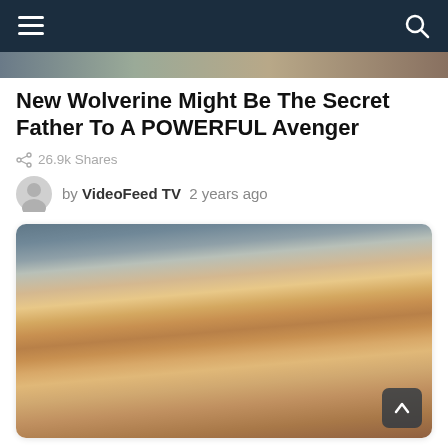Navigation bar with menu and search icons
[Figure (photo): Partial photo strip at top of page showing blurred background image]
New Wolverine Might Be The Secret Father To A POWERFUL Avenger
26.9k Shares
by VideoFeed TV  2 years ago
[Figure (photo): Close-up photo of a blonde woman with long wavy hair making a kissing face (duck lips), wearing a necklace, with a blurred indoor background]